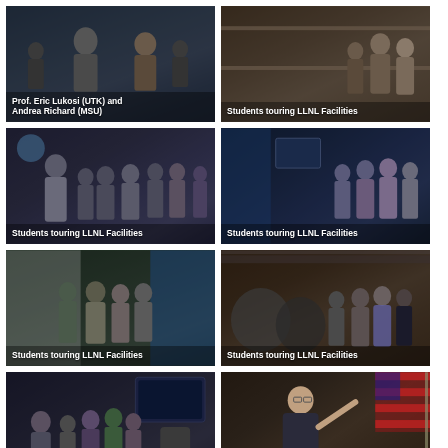[Figure (photo): Prof. Eric Lukosi (UTK) and Andrea Richard (MSU) standing together, with caption overlay]
[Figure (photo): Students touring LLNL Facilities - group of students in a facility room with equipment]
[Figure (photo): Students touring LLNL Facilities - group of students listening to a presenter in a lab]
[Figure (photo): Students touring LLNL Facilities - students in a blue-lit facility corridor with equipment]
[Figure (photo): Students touring LLNL Facilities - students in a white corridor near blue equipment]
[Figure (photo): Students touring LLNL Facilities - students in a large industrial facility with machinery]
[Figure (photo): Students touring LLNL Facilities - presenter showing equipment to a small group of students]
[Figure (photo): August Ridenour (GWU) speaking at a podium with American flag in background]